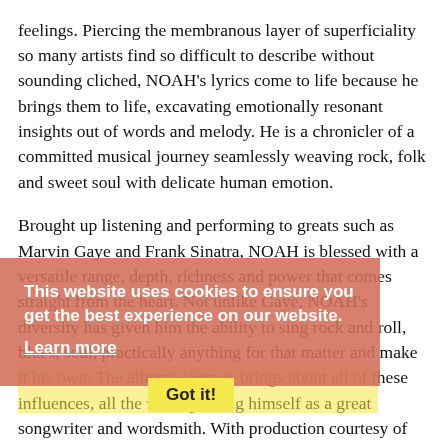feelings. Piercing the membranous layer of superficiality so many artists find so difficult to describe without sounding cliched, NOAH's lyrics come to life because he brings them to life, excavating emotionally resonant insights out of words and melody. He is a chronicler of a committed musical journey seamlessly weaving rock, folk and sweet soul with delicate human emotion.
Brought up listening and performing to greats such as Marvin Gaye and Frank Sinatra, NOAH is blessed with a versatile range, depth, richness and power that comes straight from the heart. Not unlike Gaye, NOAH's diversity has given him the ability to sing rock and roll, blues, soul, practically anything for that matter and make it his own. The albums journey brings about all of these influences, all the while proving himself as a great songwriter and wordsmith. With production courtesy of Chris Kimsey, best known for his work with The Rolling Stones, the music is crafted with a storytelling quality about it, brimming with catchy, melodic hooks bound for
This website uses cookies to ensure you get the best experience on our website.
Learn more
Got it!